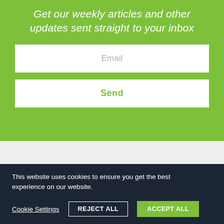Get our weekly articles and other updates sent straight to your inbox
Email
Send
This website uses cookies to ensure you get the best experience on our website.
Cookie Settings
REJECT ALL
ACCEPT ALL